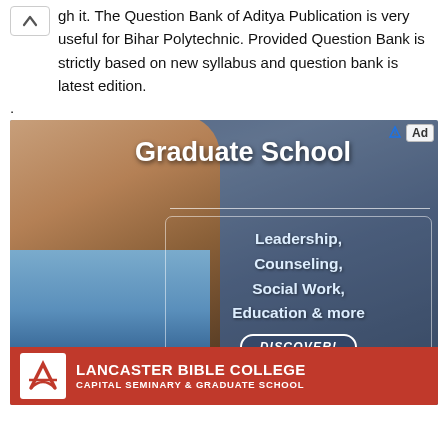gh it. The Question Bank of Aditya Publication is very useful for Bihar Polytechnic. Provided Question Bank is strictly based on new syllabus and question bank is latest edition.
.
[Figure (photo): Advertisement for Lancaster Bible College Capital Seminary & Graduate School. Shows a thoughtful Black man in a blue shirt with chin resting on hand. Text overlay reads 'Graduate School' with programs: Leadership, Counseling, Social Work, Education & more. A 'DISCOVER!' button is shown. The Lancaster Bible College logo and name appear at the bottom on a red banner.]